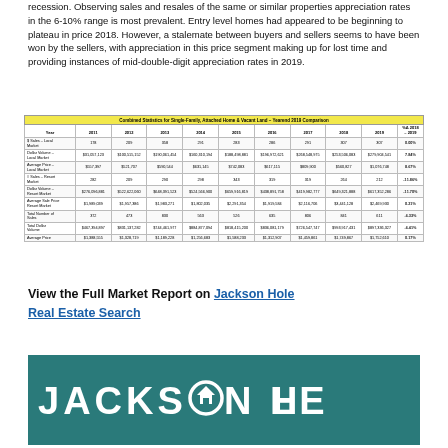recession. Observing sales and resales of the same or similar properties appreciation rates in the 6-10% range is most prevalent. Entry level homes had appeared to be beginning to plateau in price 2018. However, a stalemate between buyers and sellers seems to have been won by the sellers, with appreciation in this price segment making up for lost time and providing instances of mid-double-digit appreciation rates in 2019.
| Year | 2011 | 2012 | 2013 | 2014 | 2015 | 2016 | 2017 | 2018 | 2019 | %Δ 2018-2019 |
| --- | --- | --- | --- | --- | --- | --- | --- | --- | --- | --- |
| # Sales - Local Market | 178 | 209 | 358 | 291 | 283 | 286 | 291 | 307 | 307 | 0.00% |
| Dollar Volume - Local Market | $31,037,123 | $100,515,152 | $190,081,454 | $160,310,194 | $188,498,881 | $196,972,621 | $268,548,975 | $253,596,083 | $279,904,541 | 7.84% |
| Average Price - Local Market | $557,397 | $521,707 | $590,544 | $631,145 | $742,083 | $617,115 | $809,900 | $580,827 | $1,076,748 | 8.67% |
| # Sales - Resort Market | 282 | 209 | 290 | 298 | 343 | 319 | 319 | 264 | 212 | -11.86% |
| Dollar Volume - Resort Market | $276,096,881 | $523,622,060 | $648,391,523 | $524,566,900 | $659,916,819 | $438,891,758 | $419,982,777 | $649,321,888 | $617,352,286 | -11.70% |
| Average Sale Price Resort Market | $1,989,039 | $1,987,386 | $1,983,271 | $1,802,835 | $2,291,354 | $1,919,584 | $2,116,706 | $3,441,128 | $2,469,930 | 0.21% |
| Total Number of Sales | 372 | 473 | 830 | 563 | 526 | 635 | 806 | 841 | 611 | -6.33% |
| Total Dollar Volume | $467,394,897 | $831,137,282 | $744,461,977 | $884,877,094 | $818,415,200 | $836,081,179 | $726,547,747 | $993,917,431 | $897,336,327 | -6.41% |
| Average Price | $1,388,555 | $1,328,719 | $1,189,228 | $1,256,683 | $1,588,233 | $1,312,907 | $1,459,861 | $1,749,867 | $1,752,610 | 0.17% |
View the Full Market Report on Jackson Hole Real Estate Search
[Figure (logo): Jackson Hole Real Estate logo — teal background with white text JACKSON HOLE and a circular home icon]